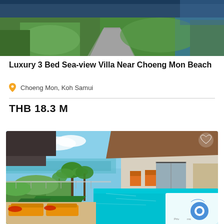[Figure (photo): Aerial/rooftop view of a villa with green garden, walkway, and building structures]
Luxury 3 Bed Sea-view Villa Near Choeng Mon Beach
Choeng Mon, Koh Samui
THB 18.3 M
[Figure (photo): Luxury villa with swimming pool, sea view, orange loungers, palm trees, and blue sky]